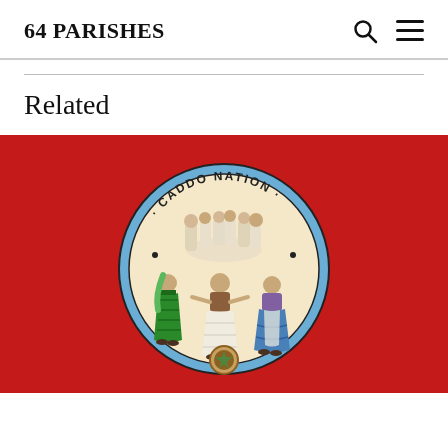64 PARISHES
Related
[Figure (illustration): Caddo Nation flag — red background with circular tribal seal showing Native American dancers in traditional dress arranged in a circle, with 'CADDO NATION' text around the top of the seal and decorative elements]